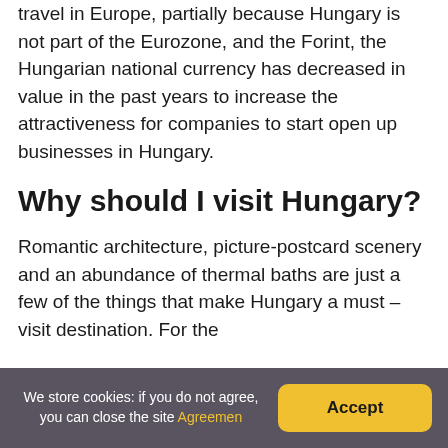travel in Europe, partially because Hungary is not part of the Eurozone, and the Forint, the Hungarian national currency has decreased in value in the past years to increase the attractiveness for companies to start open up businesses in Hungary.
Why should I visit Hungary?
Romantic architecture, picture-postcard scenery and an abundance of thermal baths are just a few of the things that make Hungary a must – visit destination. For the
We store cookies: if you do not agree, you can close the site Agreemen